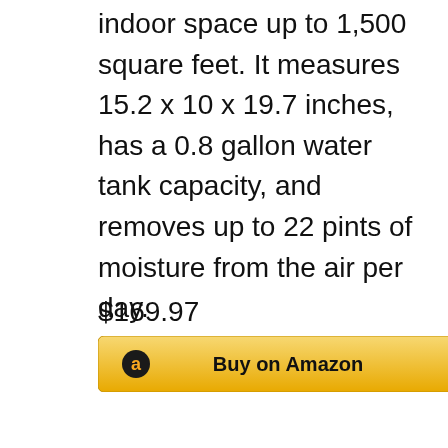indoor space up to 1,500 square feet. It measures 15.2 x 10 x 19.7 inches, has a 0.8 gallon water tank capacity, and removes up to 22 pints of moisture from the air per day.
$169.97
[Figure (other): Amazon Buy button with Amazon logo 'a' icon and text 'Buy on Amazon' on a yellow/gold gradient background button]
[Figure (photo): Photo of a Frigidaire dehumidifier — white body with black top panel showing horizontal vents and a handle, with 'FRIGIDAIRE' text on the front]